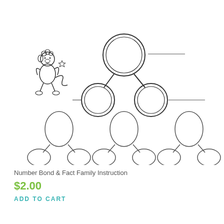[Figure (illustration): Math worksheet showing number bond diagrams. Top section: a cartoon monkey character on the left, and a large number bond diagram with one top circle connected to two bottom circles, with blank lines beside the circles. Bottom section: three smaller number bond diagrams each with one top oval and two smaller bottom ovals, with two blank lines below each set.]
Number Bond & Fact Family Instruction
$2.00
ADD TO CART